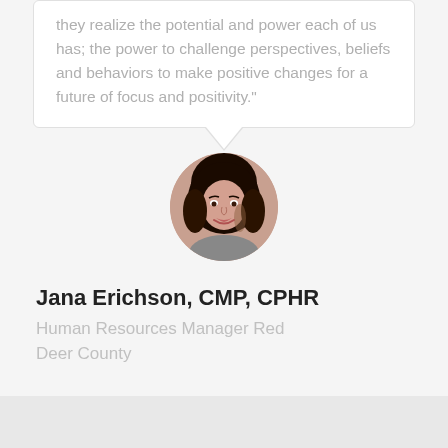they realize the potential and power each of us has;  the power to challenge perspectives, beliefs and behaviors to make positive changes for a future of focus and positivity."
[Figure (photo): Circular profile photo of Jana Erichson, a woman with dark hair, smiling]
Jana Erichson, CMP, CPHR
Human Resources Manager Red Deer County